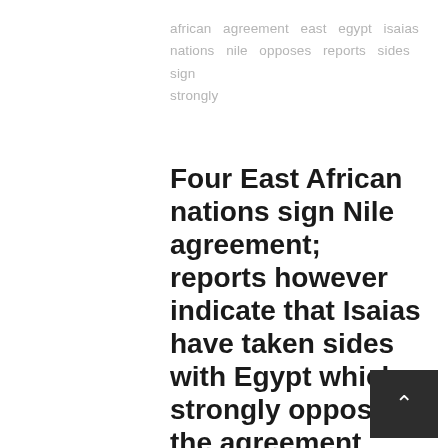african  agreement  east  egypt  isaias  nations  nile  opposes  reports  sides  sign  strongly
Four East African nations sign Nile agreement; reports however indicate that Isaias have taken sides with Egypt which strongly opposes the agreement
MAY 15, 2010  9:09 pm  NEWS  assenna
0  0  SHARE
Nile Four countries yesterday signed a treaty that would pave way for equitable use of the River Nile waters. However, Egypt and Sudan